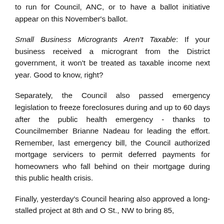to run for Council, ANC, or to have a ballot initiative appear on this November's ballot.
Small Business Microgrants Aren't Taxable: If your business received a microgrant from the District government, it won't be treated as taxable income next year. Good to know, right?
Separately, the Council also passed emergency legislation to freeze foreclosures during and up to 60 days after the public health emergency - thanks to Councilmember Brianne Nadeau for leading the effort. Remember, last emergency bill, the Council authorized mortgage servicers to permit deferred payments for homeowners who fall behind on their mortgage during this public health crisis.
Finally, yesterday's Council hearing also approved a long-stalled project at 8th and O St., NW to bring 85,